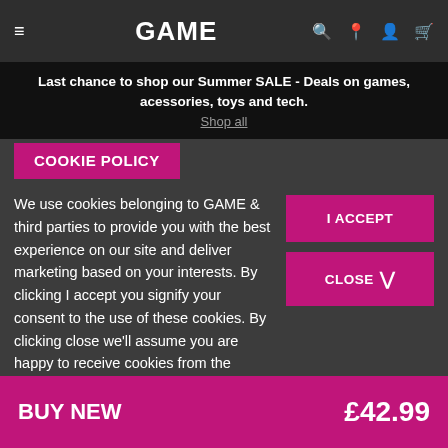GAME
Last chance to shop our Summer SALE - Deals on games, acessories, toys and tech.
Shop all
COOKIE POLICY
We use cookies belonging to GAME & third parties to provide you with the best experience on our site and deliver marketing based on your interests. By clicking I accept you signify your consent to the use of these cookies. By clicking close we'll assume you are happy to receive cookies from the game.co.uk website. To learn more, please see our COOKIE POLICY.
I ACCEPT
CLOSE
BUY NEW  £42.99